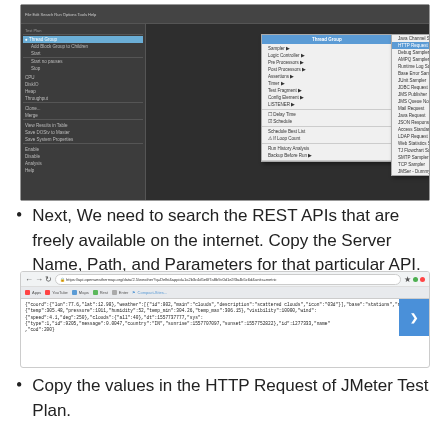[Figure (screenshot): Screenshot of JMeter IDE showing Thread Groups menu with HTTP Request sampler option highlighted in a context menu dropdown]
Next, We need to search the REST APIs that are freely available on the internet. Copy the Server Name, Path, and Parameters for that particular API.
[Figure (screenshot): Browser screenshot showing a REST API JSON response from openweathermap.org with weather data including temperature, pressure, humidity, and other meteorological parameters]
Copy the values in the HTTP Request of JMeter Test Plan.